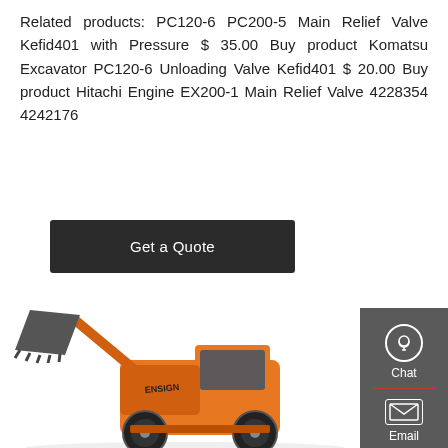Related products: PC120-6 PC200-5 Main Relief Valve Kefid401 with Pressure $ 35.00 Buy product Komatsu Excavator PC120-6 Unloading Valve Kefid401 $ 20.00 Buy product Hitachi Engine EX200-1 Main Relief Valve 4228354 4242176
[Figure (other): Dark rectangular button with white text: Get a Quote]
[Figure (photo): Orange ENSIGN wheel loader with raised bucket against white background, showing full machine side view]